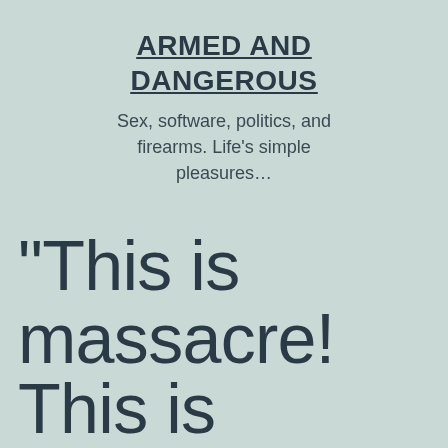ARMED AND DANGEROUS
Sex, software, politics, and firearms. Life's simple pleasures…
“This is massacre! This is